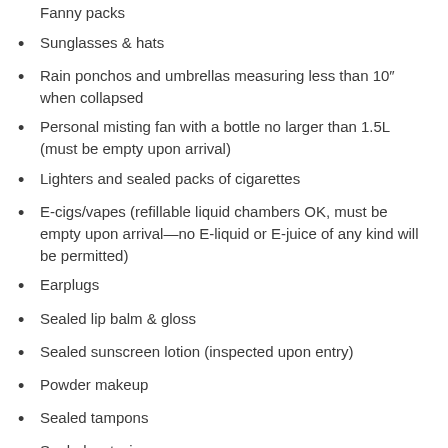Fanny packs
Sunglasses & hats
Rain ponchos and umbrellas measuring less than 10″ when collapsed
Personal misting fan with a bottle no larger than 1.5L (must be empty upon arrival)
Lighters and sealed packs of cigarettes
E-cigs/vapes (refillable liquid chambers OK, must be empty upon arrival—no E-liquid or E-juice of any kind will be permitted)
Earplugs
Sealed lip balm & gloss
Sealed sunscreen lotion (inspected upon entry)
Powder makeup
Sealed tampons
Sealed wet wipes
Sealed packs of gum